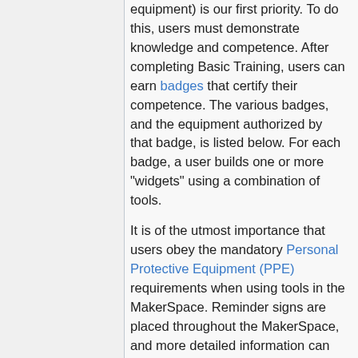equipment) is our first priority. To do this, users must demonstrate knowledge and competence. After completing Basic Training, users can earn badges that certify their competence. The various badges, and the equipment authorized by that badge, is listed below. For each badge, a user builds one or more "widgets" using a combination of tools.
It is of the utmost importance that users obey the mandatory Personal Protective Equipment (PPE) requirements when using tools in the MakerSpace. Reminder signs are placed throughout the MakerSpace, and more detailed information can be found in the Job Hazard Analysis (JHA) forms below, copies of which are also available in the MakerSpace.
Basic Training